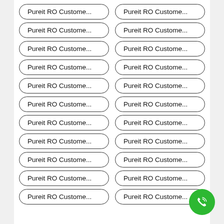Pureit RO Custome...
Pureit RO Custome...
Pureit RO Custome...
Pureit RO Custome...
Pureit RO Custome...
Pureit RO Custome...
Pureit RO Custome...
Pureit RO Custome...
Pureit RO Custome...
Pureit RO Custome...
Pureit RO Custome...
Pureit RO Custome...
Pureit RO Custome...
Pureit RO Custome...
Pureit RO Custome...
Pureit RO Custome...
Pureit RO Custome...
Pureit RO Custome...
Pureit RO Custome...
Pureit RO Custome...
Pureit RO Custome...
Pureit RO Custome...
[Figure (illustration): Green phone call floating action button]